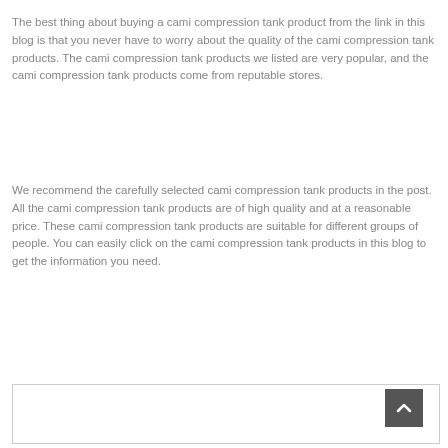The best thing about buying a cami compression tank product from the link in this blog is that you never have to worry about the quality of the cami compression tank products. The cami compression tank products we listed are very popular, and the cami compression tank products come from reputable stores.
We recommend the carefully selected cami compression tank products in the post. All the cami compression tank products are of high quality and at a reasonable price. These cami compression tank products are suitable for different groups of people. You can easily click on the cami compression tank products in this blog to get the information you need.